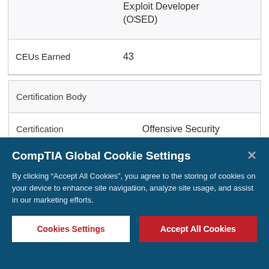|  | Exploit Developer (OSED) |
| CEUs Earned | 43 |
| Certification Body |
| --- |
| Certification | Offensive Security macOS Researcher (OSMR) |
CompTIA Global Cookie Settings
By clicking “Accept All Cookies”, you agree to the storing of cookies on your device to enhance site navigation, analyze site usage, and assist in our marketing efforts.